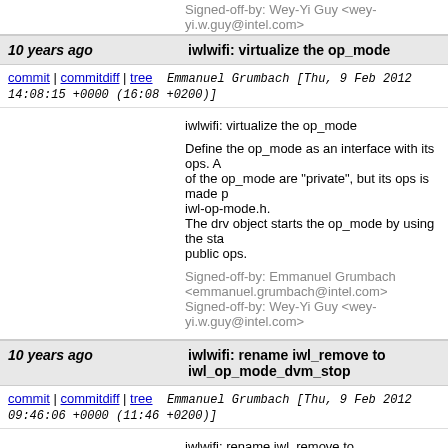Signed-off-by: Wey-Yi Guy <wey-yi.w.guy@intel.com>
10 years ago   iwlwifi: virtualize the op_mode
commit | commitdiff | tree   Emmanuel Grumbach [Thu, 9 Feb 2012 14:08:15 +0000 (16:08 +0200)]
iwlwifi: virtualize the op_mode

Define the op_mode as an interface with its ops. A of the op_mode are "private", but its ops is made p iwl-op-mode.h.
The drv object starts the op_mode by using the sta public ops.

Signed-off-by: Emmanuel Grumbach <emmanuel.grumbach@intel.com>
Signed-off-by: Wey-Yi Guy <wey-yi.w.guy@intel.com>
10 years ago   iwlwifi: rename iwl_remove to iwl_op_mode_dvm_stop
commit | commitdiff | tree   Emmanuel Grumbach [Thu, 9 Feb 2012 09:46:06 +0000 (11:46 +0200)]
iwlwifi: rename iwl_remove to iwl_op_mode_dvm_

iwl_remove stops the wifi flows, so rename.
Moreover, we can possibly stop the wifi flows ever